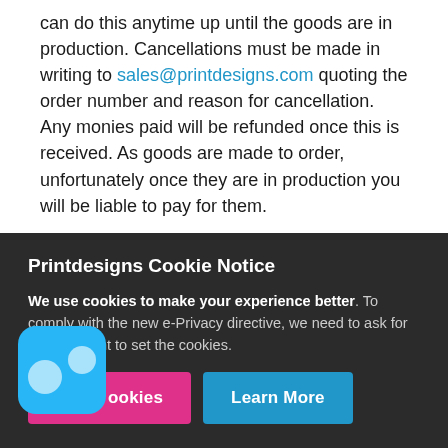can do this anytime up until the goods are in production. Cancellations must be made in writing to sales@printdesigns.com quoting the order number and reason for cancellation. Any monies paid will be refunded once this is received. As goods are made to order, unfortunately once they are in production you will be liable to pay for them.
Will will not automatically assume that an order is cancelled if payment or artwork is not not received.
Printdesigns Cookie Notice
We use cookies to make your experience better. To comply with the new e-Privacy directive, we need to ask for your consent to set the cookies.